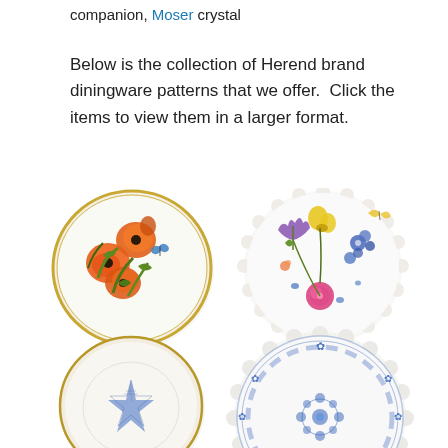companion, Moser crystal
Below is the collection of Herend brand diningware patterns that we offer.  Click the items to view them in a larger format.
[Figure (photo): Four Herend brand porcelain diningware plates arranged in a 2x2 grid. Top-left: white plate with orange poppy flowers and green leaves with a gold rim. Top-right: white scalloped-edge plate with colorful mixed flowers including purple iris, blue flowers, and a pink rose. Bottom-left: plain white bowl/plate with a single blue starfish design and gold rim. Bottom-right: white scalloped-edge plate with blue floral motifs and decorative blue border pattern.]